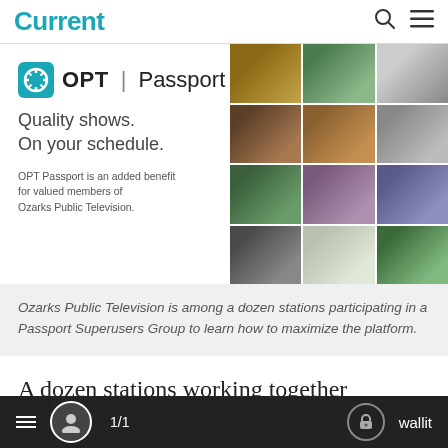Current
[Figure (screenshot): OPT Passport advertisement showing logo, tagline 'Quality shows. On your schedule.' and a grid of TV program photos]
Ozarks Public Television is among a dozen stations participating in a Passport Superusers Group to learn how to maximize the platform.
A dozen stations working together alongside
1/1  wallit